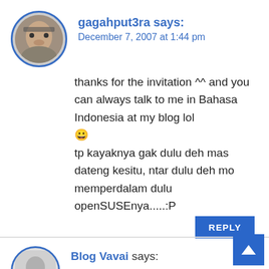gagahput3ra says:
December 7, 2007 at 1:44 pm
thanks for the invitation ^^ and you can always talk to me in Bahasa Indonesia at my blog lol 😀
tp kayaknya gak dulu deh mas dateng kesitu, ntar dulu deh mo memperdalam dulu openSUSEnya.....:P
REPLY
Blog Vavai says: